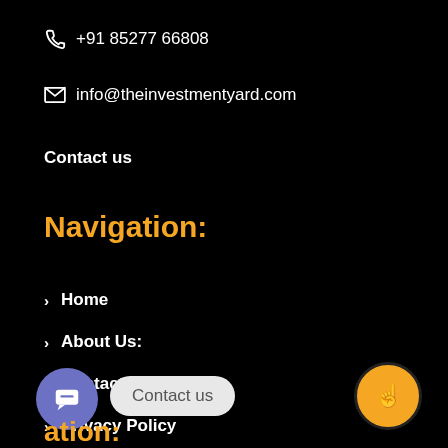📞 +91 85277 66808
✉ info@theinvestmentyard.com
Contact us
Navigation:
> Home
> About Us:
> Contact Us:
> Privacy Policy
> Awards
[Figure (other): Chat widget button (blue circle with chat icon) and 'Contact us' tooltip pill]
[Figure (other): Orange circle button with pointing hand icon]
ation: